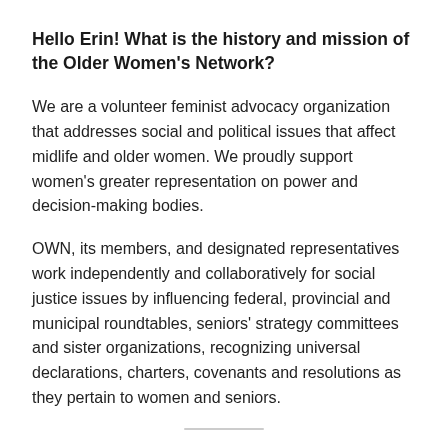Hello Erin! What is the history and mission of the Older Women's Network?
We are a volunteer feminist advocacy organization that addresses social and political issues that affect midlife and older women. We proudly support women's greater representation on power and decision-making bodies.
OWN, its members, and designated representatives work independently and collaboratively for social justice issues by influencing federal, provincial and municipal roundtables, seniors' strategy committees and sister organizations, recognizing universal declarations, charters, covenants and resolutions as they pertain to women and seniors.